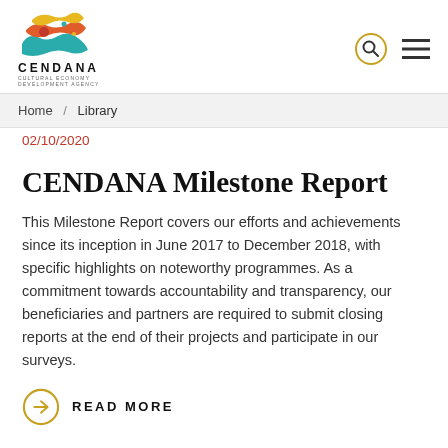[Figure (logo): CENDANA Cultural Economy Development Agency logo with colorful stylized bird/fish shape above the text CENDANA]
Home / Library
02/10/2020
CENDANA Milestone Report
This Milestone Report covers our efforts and achievements since its inception in June 2017 to December 2018, with specific highlights on noteworthy programmes. As a commitment towards accountability and transparency, our beneficiaries and partners are required to submit closing reports at the end of their projects and participate in our surveys.
READ MORE